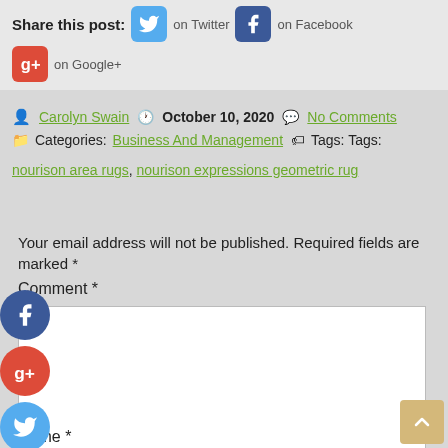Share this post: on Twitter on Facebook on Google+
Carolyn Swain  October 10, 2020  No Comments
Categories: Business And Management  Tags: Tags: nourison area rugs, nourison expressions geometric rug
Your email address will not be published. Required fields are marked *
Comment *
Name *